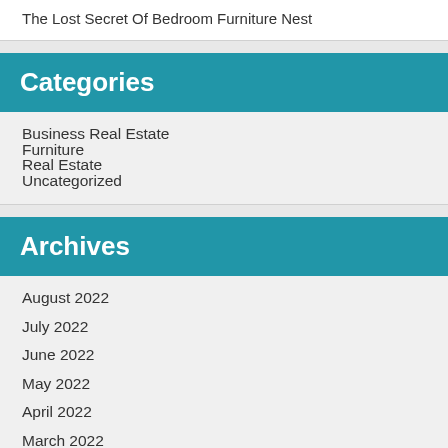The Lost Secret Of Bedroom Furniture Nest
Categories
Business Real Estate
Furniture
Real Estate
Uncategorized
Archives
August 2022
July 2022
June 2022
May 2022
April 2022
March 2022
February 2022
January 2022